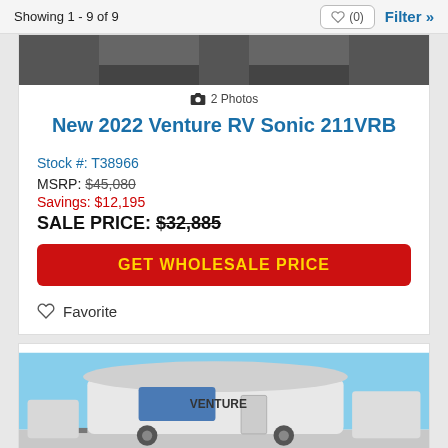Showing 1 - 9 of 9
[Figure (photo): Partial top image of an RV listing, dark/grey photo cropped at top]
2 Photos
New 2022 Venture RV Sonic 211VRB
Stock #: T38966
MSRP: $45,080
Savings: $12,195
SALE PRICE: $32,885
GET WHOLESALE PRICE
Favorite
[Figure (photo): RV trailer exterior photo showing a white Venture RV travel trailer in a lot under blue sky]